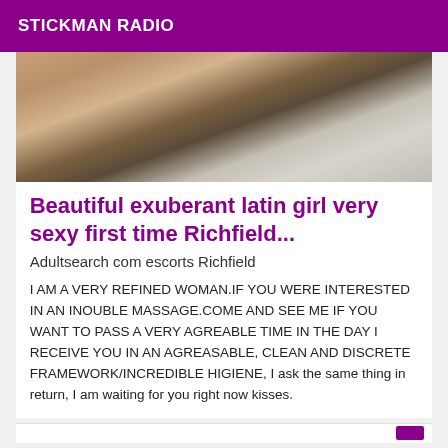STICKMAN RADIO
[Figure (photo): Cropped photo showing a person lying on a bed, torso visible, suggestive adult content]
Beautiful exuberant latin girl very sexy first time Richfield...
Adultsearch com escorts Richfield
I AM A VERY REFINED WOMAN.IF YOU WERE INTERESTED IN AN INOUBLE MASSAGE.COME AND SEE ME IF YOU WANT TO PASS A VERY AGREABLE TIME IN THE DAY I RECEIVE YOU IN AN AGREASABLE, CLEAN AND DISCRETE FRAMEWORK/INCREDIBLE HIGIENE, I ask the same thing in return, I am waiting for you right now kisses.